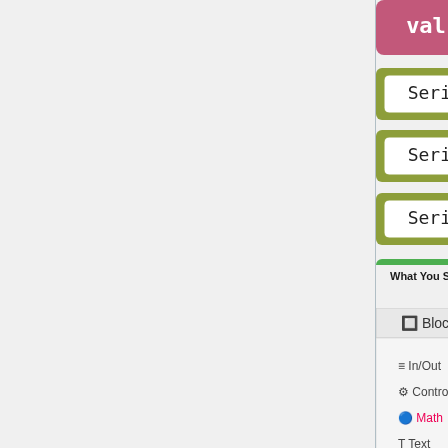[Figure (screenshot): Blockly/Mixly visual programming blocks showing Serial print and println blocks with 'Temp:', val, 'C' and Delay 500ms blocks on a green background]
What You Should See
[Figure (screenshot): Mixly IDE screenshot showing Blocks panel on left with In/Out, Control, Math, Text, Lists, Logic, SerialPort, Communicate, Storage, Sensor categories, and code blocks on right including Declare val as int, setup with Serial baud rate 9600, val LM35 Temperature Sensor block, and Serial blocks]